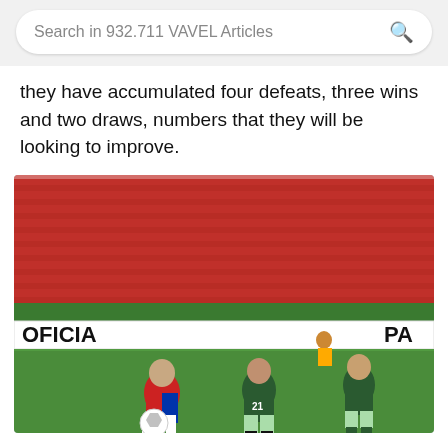Search in 932.711 VAVEL Articles
they have accumulated four defeats, three wins and two draws, numbers that they will be looking to improve.
[Figure (photo): Soccer match photo showing players from two teams — one in red/white/blue Chivas strip and two in dark green Santos Laguna kit — contesting the ball on a green pitch in front of red stadium seating. Advertising boards reading 'OFICIA' and 'PA' are visible at pitch side.]